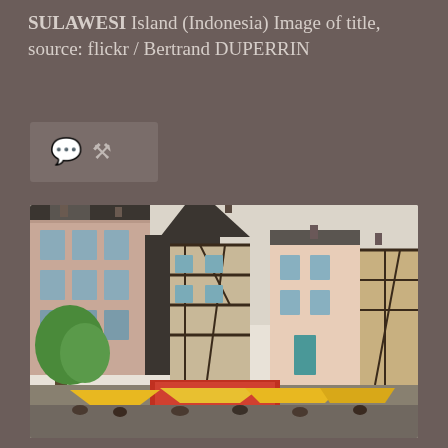SULAWESI Island (Indonesia) Image of title, source: flickr / Bertrand DUPERRIN
[Figure (other): Icon bar with speech bubble and chain link icons on a dark brownish background]
[Figure (photo): Street scene in a French town square showing historic half-timbered and brick buildings, yellow market tents/umbrellas at street level, a green tree on the left, crowds of people, overcast sky]